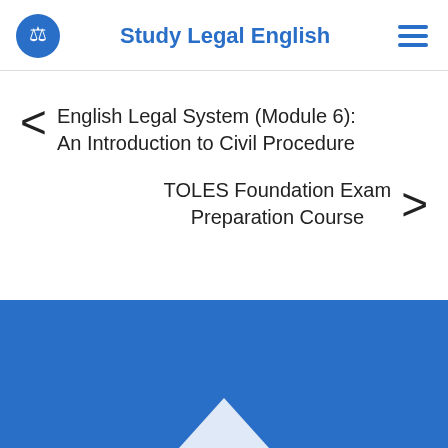Study Legal English
< English Legal System (Module 6): An Introduction to Civil Procedure
TOLES Foundation Exam Preparation Course >
[Figure (other): Blue footer bar with upward chevron/arrow at bottom of page]